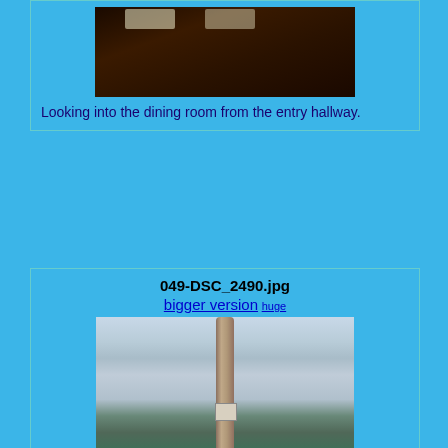[Figure (photo): Dark interior photo looking into a dining room from an entry hallway, with ceiling lights visible]
Looking into the dining room from the entry hallway.
049-DSC_2490.jpg
bigger version huge
[Figure (photo): Outdoor photo of a bare tree trunk in the foreground with a sign attached, and a panoramic view of a city/town in a valley with hills in the background]